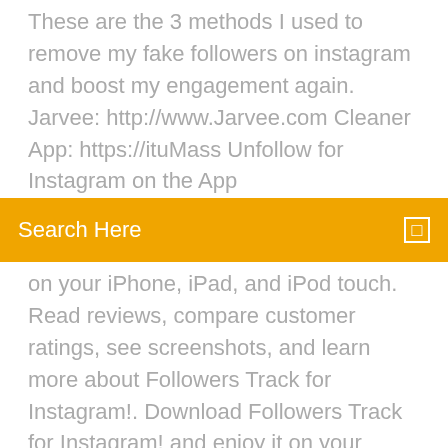These are the 3 methods I used to remove my fake followers on instagram and boost my engagement again. Jarvee: http://www.Jarvee.com Cleaner App: https://ituMass Unfollow for Instagram on the App Storehttps://apps.apple.com/app/mass-unfollow-for-instagramRead reviews, compare customer ratings, see
[Figure (screenshot): Orange search bar with text 'Search Here' and a small square icon on the right]
on your iPhone, iPad, and iPod touch. Read reviews, compare customer ratings, see screenshots, and learn more about Followers Track for Instagram!. Download Followers Track for Instagram! and enjoy it on your iPhone, iPad, and iPod touch. Read reviews, compare customer ratings, see screenshots and learn more about Insights+ for Instagram. Download Insights+ for Instagram and enjoy it on your iPhone, iPad and iPod touch. How To Stop Instagram Spam? Spam Guard is the smart cleaner for Instagram to unfollows spam accounts. Stop instagram spam and blocks unwanted followers. It's fast,